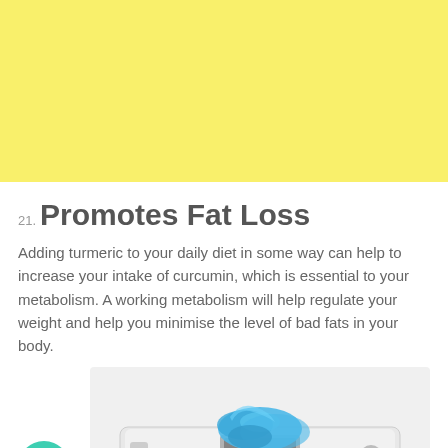[Figure (photo): Yellow background block filling the top portion of the page]
21. Promotes Fat Loss
Adding turmeric to your daily diet in some way can help to increase your intake of curcumin, which is essential to your metabolism. A working metabolism will help regulate your weight and help you minimise the level of bad fats in your body.
[Figure (photo): Photo of a bathroom scale with blue measuring tape coiled on top of it, on a white background]